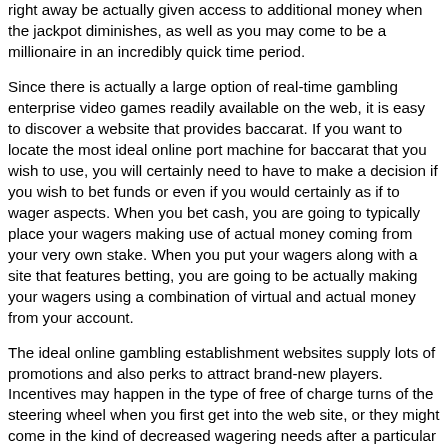right away be actually given access to additional money when the jackpot diminishes, as well as you may come to be a millionaire in an incredibly quick time period.
Since there is actually a large option of real-time gambling enterprise video games readily available on the web, it is easy to discover a website that provides baccarat. If you want to locate the most ideal online port machine for baccarat that you wish to use, you will certainly need to have to make a decision if you wish to bet funds or even if you would certainly as if to wager aspects. When you bet cash, you are going to typically place your wagers making use of actual money coming from your very own stake. When you put your wagers along with a site that features betting, you are going to be actually making your wagers using a combination of virtual and actual money from your account.
The ideal online gambling establishment websites supply lots of promotions and also perks to attract brand-new players. Incentives may happen in the type of free of charge turns of the steering wheel when you first get into the web site, or they might come in the kind of decreased wagering needs after a particular lot of full weeks or even months of dipping into the website. The majority of gambling enterprises provide both sorts of incentives to keep their participants thinking about video gaming at the internet site. If you as if to bet as well